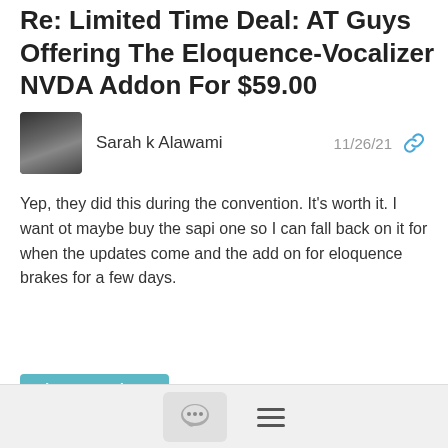Re: Limited Time Deal: AT Guys Offering The Eloquence-Vocalizer NVDA Addon For $59.00
Sarah k Alawami  11/26/21
Yep, they did this during the convention. It's worth it. I want ot maybe buy the sapi one so I can fall back on it for when the updates come and the add on for eloquence brakes for a few days.
Show quoted text
≡ More
🔒 Re: Owner's Note: Thank You #adminnotice
Rosemarie Chavarria  11/26/21